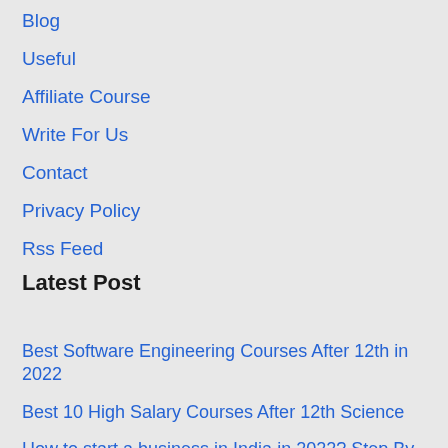Blog
Useful
Affiliate Course
Write For Us
Contact
Privacy Policy
Rss Feed
Latest Post
Best Software Engineering Courses After 12th in 2022
Best 10 High Salary Courses After 12th Science
How to start a business in India in 2022? Step By Step